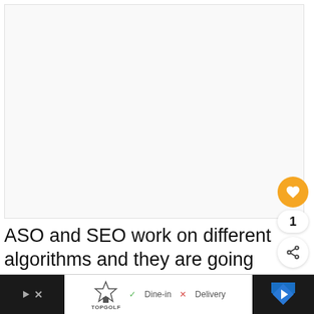[Figure (other): Large white blank/image area at top of page, with a yellow heart/like button, a count of 1, and a share button overlaid on the right side]
ASO and SEO work on different algorithms and they are going to remain different for the foreseeable future.
[Figure (other): What's Next panel showing 'WHAT'S NEXT →' label in orange and title 'Detailed Guide On App Stor...' with a small icon]
[Figure (other): Bottom advertisement banner: dark left section with play/close icons, center white section with Topgolf logo, Dine-in checkmark, Delivery X, and a blue map/direction icon on right dark section]